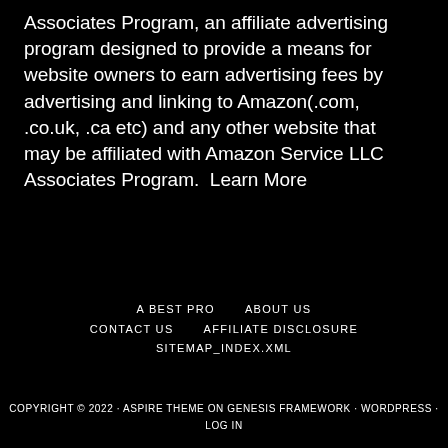Associates Program, an affiliate advertising program designed to provide a means for website owners to earn advertising fees by advertising and linking to Amazon(.com, .co.uk, .ca etc) and any other website that may be affiliated with Amazon Service LLC Associates Program.  Learn More
A BEST PRO   ABOUT US   CONTACT US   AFFILIATE DISCLOSURE   SITEMAP_INDEX.XML
COPYRIGHT © 2022 · ASPIRE THEME ON GENESIS FRAMEWORK · WORDPRESS · LOG IN